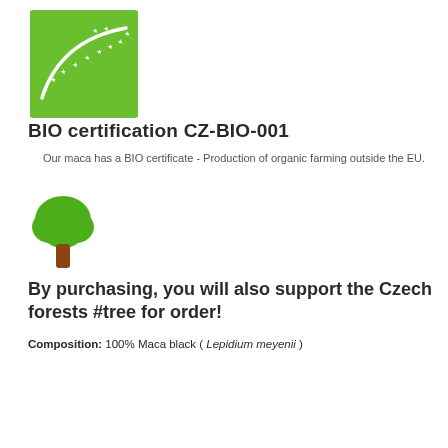[Figure (logo): EU BIO organic certification logo — green rectangle with white arc and stars pattern]
BIO certification CZ-BIO-001
Our maca has a BIO certificate - Production of organic farming outside the EU.
[Figure (illustration): Green tree illustration with brown trunk — representing Czech forests]
By purchasing, you will also support the Czech forests #tree for order!
Composition: 100% Maca black ( Lepidium meyenii )